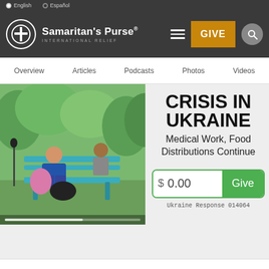English  Español
[Figure (logo): Samaritan's Purse International Relief logo with circular cross emblem, white text on dark background, with GIVE button and hamburger menu]
Overview  Articles  Podcasts  Photos  Videos
[Figure (photo): Two people sitting on a bench outdoors, one person with a pink bag, greenery in background, video player with progress bar]
CRISIS IN UKRAINE
Medical Work, Food Distributions Continue
$ 0.00  Give
Ukraine Response 014064